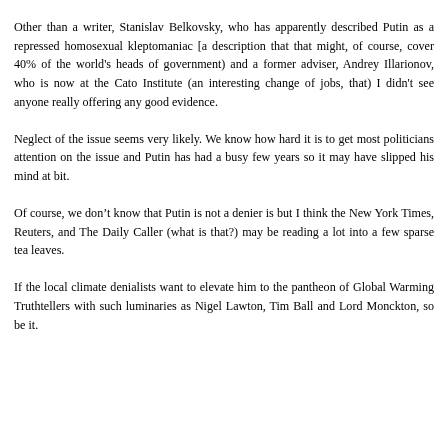Other than a writer, Stanislav Belkovsky, who has apparently described Putin as a repressed homosexual kleptomaniac [a description that that might, of course, cover 40% of the world's heads of government) and a former adviser, Andrey Illarionov, who is now at the Cato Institute (an interesting change of jobs, that) I didn't see anyone really offering any good evidence.
Neglect of the issue seems very likely. We know how hard it is to get most politicians attention on the issue and Putin has had a busy few years so it may have slipped his mind at bit.
Of course, we don’t know that Putin is not a denier is but I think the New York Times, Reuters, and The Daily Caller (what is that?) may be reading a lot into a few sparse tea leaves.
If the local climate denialists want to elevate him to the pantheon of Global Warming Truthtellers with such luminaries as Nigel Lawton, Tim Ball and Lord Monckton, so be it.